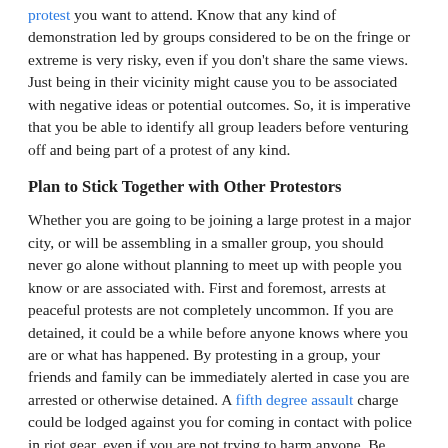protest you want to attend. Know that any kind of demonstration led by groups considered to be on the fringe or extreme is very risky, even if you don't share the same views. Just being in their vicinity might cause you to be associated with negative ideas or potential outcomes. So, it is imperative that you be able to identify all group leaders before venturing off and being part of a protest of any kind.
Plan to Stick Together with Other Protestors
Whether you are going to be joining a large protest in a major city, or will be assembling in a smaller group, you should never go alone without planning to meet up with people you know or are associated with. First and foremost, arrests at peaceful protests are not completely uncommon. If you are detained, it could be a while before anyone knows where you are or what has happened. By protesting in a group, your friends and family can be immediately alerted in case you are arrested or otherwise detained. A fifth degree assault charge could be lodged against you for coming in contact with police in riot gear, even if you are not trying to harm anyone. Be aware of the fact that simply being present at a protest could lead to you being charged with a crime. Being in a group can also help you to get to safety more easily if you are in an organized group.